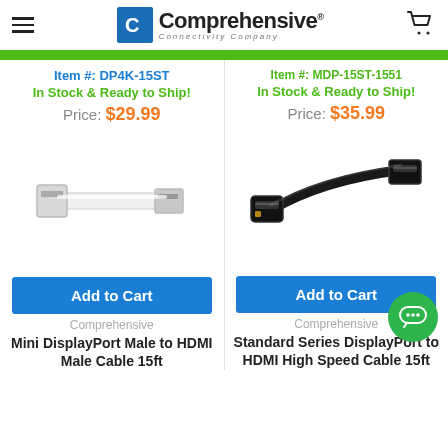Comprehensive Connectivity Company
Item #: DP4K-15ST
In Stock & Ready to Ship!
Price: $29.99
Item #: MDP-15ST (partially visible)
In Stock & Ready to Ship!
Price: $35.99
[Figure (photo): White Mini DisplayPort Male to HDMI Male cable with connectors visible]
[Figure (photo): Black Standard Series DisplayPort to HDMI High Speed cable with connectors visible]
Add to Cart
Comprehensive
Mini DisplayPort Male to HDMI Male Cable 15ft
Add to Cart
Comprehensive
Standard Series DisplayPort to HDMI High Speed Cable 15ft